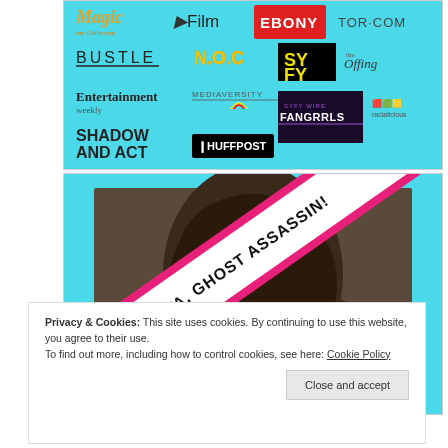[Figure (illustration): Collection of media brand logos on cyan background: Magic The Gathering, Film, EBONY, TOR.COM, BUSTLE, N.O.C, SYFY, The Offing, Entertainment Weekly, Mediaversity, Shadow and Act, HuffPost, FANGRRLS, Racialicious]
[Figure (photo): Photo of a person with dark hair, with a diagonal pink/white banner reading MEET KAYA, GHOST ASSASSIN! overlaid on the image, on a cyan background]
Privacy & Cookies: This site uses cookies. By continuing to use this website, you agree to their use.
To find out more, including how to control cookies, see here: Cookie Policy
Close and accept